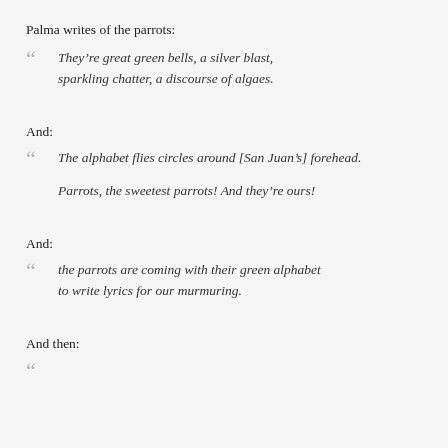Palma writes of the parrots:
They’re great green bells, a silver blast,
sparkling chatter, a discourse of algaes.
And:
The alphabet flies circles around [San Juan’s] forehead.

Parrots, the sweetest parrots! And they’re ours!
And:
the parrots are coming with their green alphabet
to write lyrics for our murmuring.
And then: